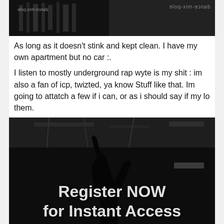[Figure (photo): Dark grayscale photo with mirrored text 'dance-mix-pole' in top right corner]
As long as it doesn't stink and kept clean. I have my own apartment but no car :.
I listen to mostly underground rap wyte is my shit : im also a fan of icp, twizted, ya know Stuff like that. Im going to attatch a few if i can, or as i should say if my lo them.
[Figure (photo): Dark grayscale photo of a person with arm raised, overlaid with white text 'Register NOW for Instant Access']